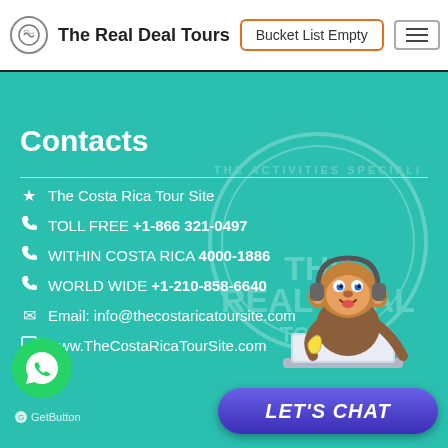The Real Deal Tours | Bucket List Empty
Contacts
★ The Costa Rica Tour Site
☎ TOLL FREE +1-866 321-0497
☎ WITHIN COSTA RICA 4000-1886
☎ WORLD WIDE +1-210-858-6640
✉ Email: info@thecostaricatoursite.com
🖥 www.TheCostaRicaTourSite.com
[Figure (illustration): Cartoon monkey mascot with headphones sitting at a laptop, with a Let's Chat button below]
[Figure (logo): WhatsApp button (green circle with WhatsApp icon) and GetButton label]